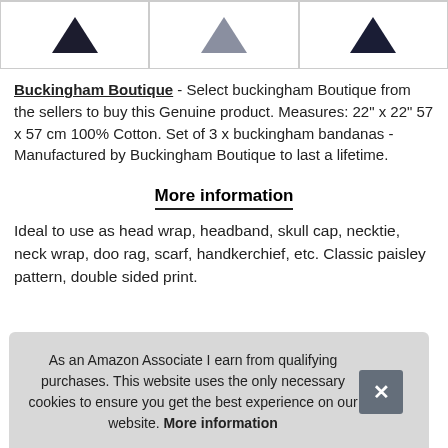[Figure (photo): Three product images showing bandanas/scarves from above, left to right: dark navy, grey, and dark navy variants, each in a bordered box.]
Buckingham Boutique - Select buckingham Boutique from the sellers to buy this Genuine product. Measures: 22" x 22" 57 x 57 cm 100% Cotton. Set of 3 x buckingham bandanas - Manufactured by Buckingham Boutique to last a lifetime.
More information
Ideal to use as head wrap, headband, skull cap, necktie, neck wrap, doo rag, scarf, handkerchief, etc. Classic paisley pattern, double sided print.
As an Amazon Associate I earn from qualifying purchases. This website uses the only necessary cookies to ensure you get the best experience on our website. More information